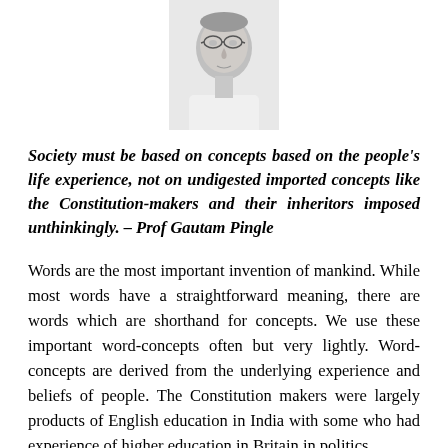[Figure (photo): Black and white portrait photograph of a man wearing glasses and a white shirt, cropped at the shoulders.]
Society must be based on concepts based on the people's life experience, not on undigested imported concepts like the Constitution-makers and their inheritors imposed unthinkingly. – Prof Gautam Pingle
Words are the most important invention of mankind. While most words have a straightforward meaning, there are words which are shorthand for concepts. We use these important word-concepts often but very lightly. Word-concepts are derived from the underlying experience and beliefs of people. The Constitution makers were largely products of English education in India with some who had experience of higher education in Britain in politics,